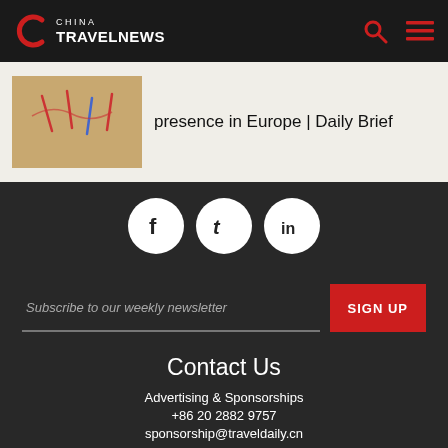China TravelNews
presence in Europe | Daily Brief
[Figure (illustration): Thumbnail image showing acupuncture needles on skin]
[Figure (infographic): Social media icons: Facebook, Twitter, LinkedIn]
Subscribe to our weekly newsletter
SIGN UP
Contact Us
Advertising & Sponsorships
+86 20 2882 9757
sponsorship@traveldaily.cn